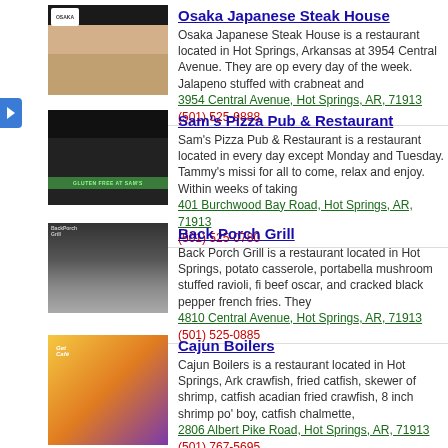[Figure (screenshot): Osaka Japanese Steak House website screenshot thumbnail]
Osaka Japanese Steak House
Osaka Japanese Steak House is a restaurant located in Hot Springs, Arkansas at 3954 Central Avenue. They are open every day of the week. Jalapeno stuffed with crabneat and
3954 Central Avenue, Hot Springs, AR, 71913
(501) 525-9888
[Figure (screenshot): Sam's Pizza Pub & Restaurant website screenshot thumbnail]
Sam's Pizza Pub & Restaurant
Sam's Pizza Pub & Restaurant is a restaurant located in Hot Springs, open every day except Monday and Tuesday. Tammy's mission for all to come, relax and enjoy. Within weeks of taking
401 Burchwood Bay Road, Hot Springs, AR, 71913
(501) 525-0780
[Figure (screenshot): Back Porch Grill website screenshot thumbnail]
Back Porch Grill
Back Porch Grill is a restaurant located in Hot Springs, AR. potato casserole, portabella mushroom stuffed ravioli, fi beef oscar, and cracked black pepper french fries. They
4810 Central Avenue, Hot Springs, AR, 71913
(501) 525-0885
[Figure (screenshot): Cajun Boilers website screenshot thumbnail]
Cajun Boilers
Cajun Boilers is a restaurant located in Hot Springs, Ark. crawfish, fried catfish, skewer of shrimp, catfish acadian, fried crawfish, 8 inch shrimp po' boy, catfish chalmette,
2806 Albert Pike Road, Hot Springs, AR, 71913
(501) 767-5695